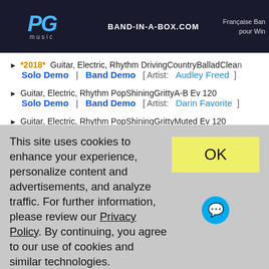PG music | BAND-IN-A-BOX.COM | Française Ban pour Win
*2018* Guitar, Electric, Rhythm DrivingCountryBalladClean
Solo Demo | Band Demo [ Artist: Audley Freed ]
Guitar, Electric, Rhythm PopShiningGrittyA-B Ev 120
Solo Demo | Band Demo [ Artist: Darin Favorite ]
Guitar, Electric, Rhythm PopShiningGrittyMuted Ev 120
Solo Demo | Band Demo [ Artist: Darin Favorite ]
*2018* Guitar, Electric, Soloist CountryBrent Ev 120
This site uses cookies to enhance your experience, personalize content and advertisements, and analyze traffic. For further information, please review our Privacy Policy. By continuing, you agree to our use of cookies and similar technologies.